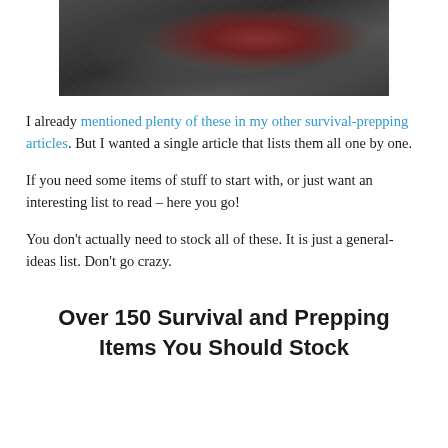[Figure (photo): A dark photograph showing debris and rubble on the ground with what appears to be a red/grey mechanical tool or equipment lying among broken concrete and stone.]
I already mentioned plenty of these in my other survival-prepping articles. But I wanted a single article that lists them all one by one.
If you need some items of stuff to start with, or just want an interesting list to read – here you go!
You don't actually need to stock all of these. It is just a general-ideas list. Don't go crazy.
Over 150 Survival and Prepping Items You Should Stock